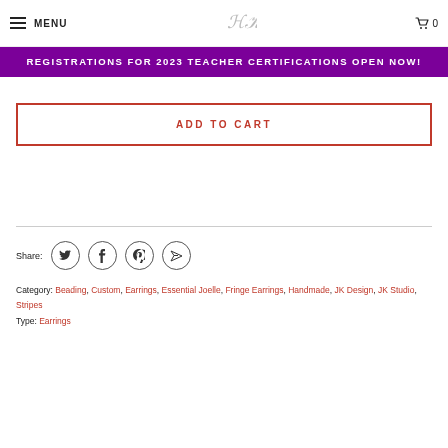MENU | [logo] | Cart 0
REGISTRATIONS FOR 2023 TEACHER CERTIFICATIONS OPEN NOW!
ADD TO CART
Share: [Twitter] [Facebook] [Pinterest] [Email]
Category: Beading, Custom, Earrings, Essential Joelle, Fringe Earrings, Handmade, JK Design, JK Studio, Stripes
Type: Earrings